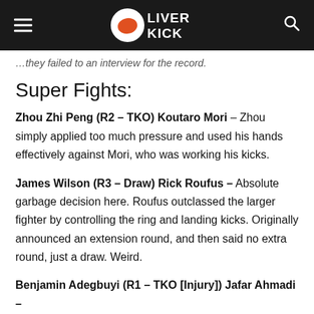Liver Kick
…they failed to an interview for the record.
Super Fights:
Zhou Zhi Peng (R2 – TKO) Koutaro Mori – Zhou simply applied too much pressure and used his hands effectively against Mori, who was working his kicks.
James Wilson (R3 – Draw) Rick Roufus – Absolute garbage decision here. Roufus outclassed the larger fighter by controlling the ring and landing kicks. Originally announced an extension round, and then said no extra round, just a draw. Weird.
Benjamin Adegbuyi (R1 – TKO [Injury]) Jafar Ahmadi – Decent bit of a fight, then Ahmadi's hand came down onto